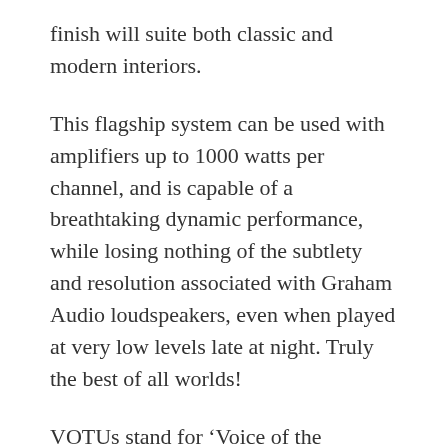finish will suite both classic and modern interiors.
This flagship system can be used with amplifiers up to 1000 watts per channel, and is capable of a breathtaking dynamic performance, while losing nothing of the subtlety and resolution associated with Graham Audio loudspeakers, even when played at very low levels late at night. Truly the best of all worlds!
VOTUs stand for ‘Voice of the Universe’ – The name stems from the renowned ‘Voice of the Theatre’ loudspeakers, which